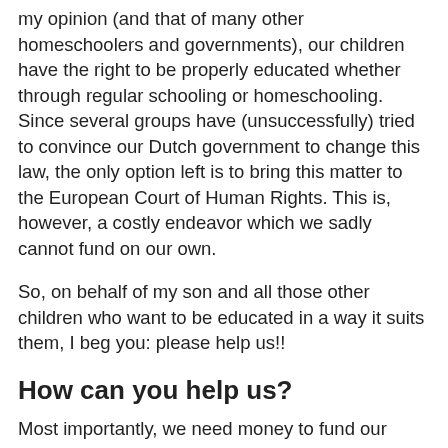my opinion (and that of many other homeschoolers and governments), our children have the right to be properly educated whether through regular schooling or homeschooling. Since several groups have (unsuccessfully) tried to convince our Dutch government to change this law, the only option left is to bring this matter to the European Court of Human Rights. This is, however, a costly endeavor which we sadly cannot fund on our own.
So, on behalf of my son and all those other children who want to be educated in a way it suits them, I beg you: please help us!!
How can you help us?
Most importantly, we need money to fund our case at the European Court of Human Rights. I estimate it'll cost us up to 800 euro. In addition , we need 882 euro if I'm legally forced to pay the fines so as to avoid a jail sentence. If you would like to